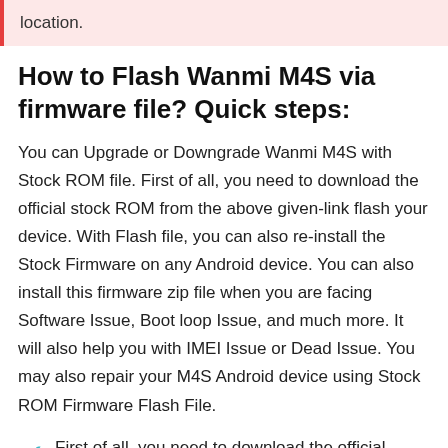location.
How to Flash Wanmi M4S via firmware file? Quick steps:
You can Upgrade or Downgrade Wanmi M4S with Stock ROM file. First of all, you need to download the official stock ROM from the above given-link flash your device. With Flash file, you can also re-install the Stock Firmware on any Android device. You can also install this firmware zip file when you are facing Software Issue, Boot loop Issue, and much more. It will also help you with IMEI Issue or Dead Issue. You may also repair your M4S Android device using Stock ROM Firmware Flash File.
First of all, you need to download the official firmware zip folder from above given link, and extract it on Windows 11, 10, Mac, Linux computer.
After extracting the folder, you will receive the Flash